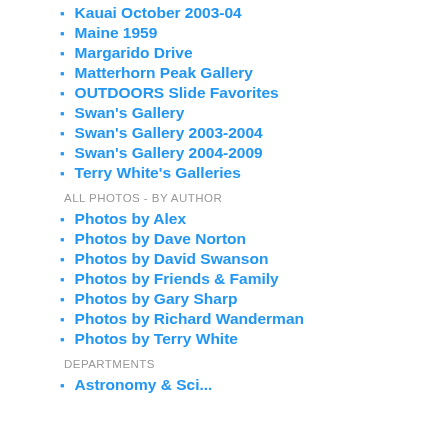Kauai October 2003-04
Maine 1959
Margarido Drive
Matterhorn Peak Gallery
OUTDOORS Slide Favorites
Swan's Gallery
Swan's Gallery 2003-2004
Swan's Gallery 2004-2009
Terry White's Galleries
ALL PHOTOS - BY AUTHOR
Photos by Alex
Photos by Dave Norton
Photos by David Swanson
Photos by Friends & Family
Photos by Gary Sharp
Photos by Richard Wanderman
Photos by Terry White
DEPARTMENTS
Astronomy & Science